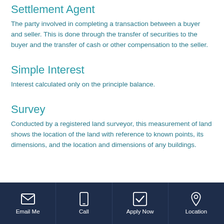Settlement Agent
The party involved in completing a transaction between a buyer and seller. This is done through the transfer of securities to the buyer and the transfer of cash or other compensation to the seller.
Simple Interest
Interest calculated only on the principle balance.
Survey
Conducted by a registered land surveyor, this measurement of land shows the location of the land with reference to known points, its dimensions, and the location and dimensions of any buildings.
Email Me | Call | Apply Now | Location